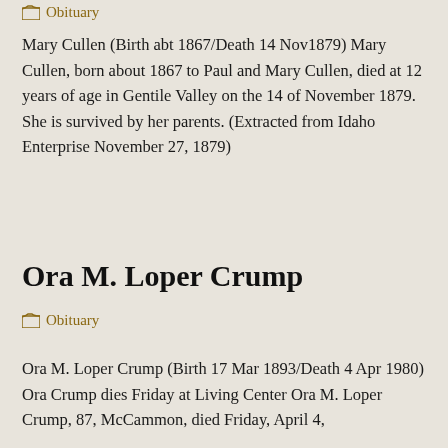Obituary
Mary Cullen (Birth abt 1867/Death 14 Nov1879) Mary Cullen, born about 1867 to Paul and Mary Cullen, died at 12 years of age in Gentile Valley on the 14 of November 1879. She is survived by her parents. (Extracted from Idaho Enterprise November 27, 1879)
Ora M. Loper Crump
Obituary
Ora M. Loper Crump (Birth 17 Mar 1893/Death 4 Apr 1980) Ora Crump dies Friday at Living Center Ora M. Loper Crump, 87, McCammon, died Friday, April 4,